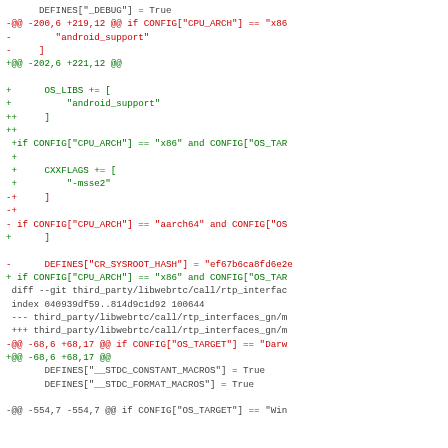[Figure (screenshot): A git diff output showing code changes in a build configuration file. Lines marked with '-' are in red (removed), lines with '+' are in green (added), and unchanged context lines are in gray/black. The diff shows changes related to OS_LIBS, CXXFLAGS, CONFIG CPU_ARCH and CONFIG OS_TARGET conditionals, DEFINES for CR_SYSROOT_HASH, and diff headers for third_party/libwebrtc/call/rtp_interfaces_gn files.]